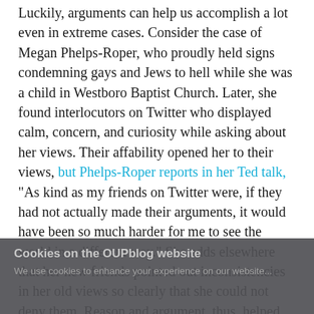Luckily, arguments can help us accomplish a lot even in extreme cases. Consider the case of Megan Phelps-Roper, who proudly held signs condemning gays and Jews to hell while she was a child in Westboro Baptist Church. Later, she found interlocutors on Twitter who displayed calm, concern, and curiosity while asking about her views. Their affability opened her to their views, but Phelps-Roper reports in her Ted talk, "As kind as my friends on Twitter were, if they had not actually made their arguments, it would have been so much harder for me to see the world in a different way." She adds elsewhere that her new friends pointed out inconsistencies in her old views so clearly that she could not deny them. Reason and argument, thus, helped her to understand her opponents and herself and then to change her deeply-held religious beliefs.
Cookies on the OUPblog website
We use cookies to enhance your experience on our website...